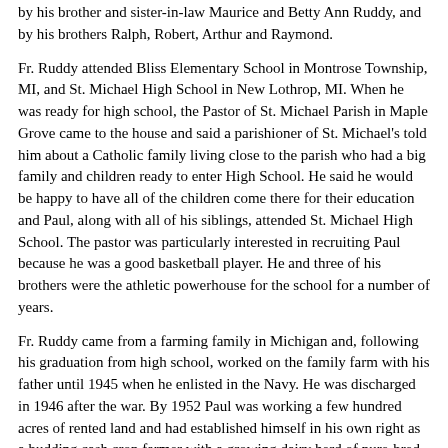by his brother and sister-in-law Maurice and Betty Ann Ruddy, and by his brothers Ralph, Robert, Arthur and Raymond.
Fr. Ruddy attended Bliss Elementary School in Montrose Township, MI, and St. Michael High School in New Lothrop, MI. When he was ready for high school, the Pastor of St. Michael Parish in Maple Grove came to the house and said a parishioner of St. Michael's told him about a Catholic family living close to the parish who had a big family and children ready to enter High School. He said he would be happy to have all of the children come there for their education and Paul, along with all of his siblings, attended St. Michael High School. The pastor was particularly interested in recruiting Paul because he was a good basketball player. He and three of his brothers were the athletic powerhouse for the school for a number of years.
Fr. Ruddy came from a farming family in Michigan and, following his graduation from high school, worked on the family farm with his father until 1945 when he enlisted in the Navy. He was discharged in 1946 after the war. By 1952 Paul was working a few hundred acres of rented land and had established himself in his own right as a budding cash crop farmer with a growing dairy herd of pure-bred Holsteins which he used for milk and pigs he raised. Deciding to join the Oblates in 1952 he auctioned all of this farm equipment and animals, and two or three of his best buddies drove him to Childs, Maryland to begin his new life with the Oblates of